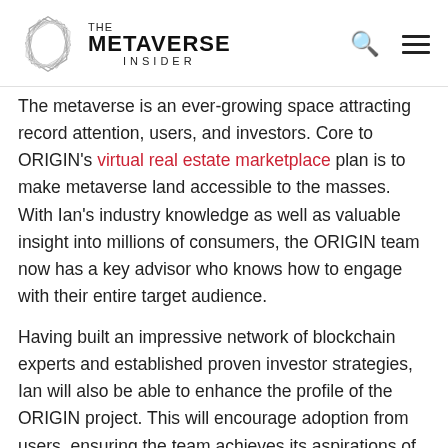THE METAVERSE INSIDER
The metaverse is an ever-growing space attracting record attention, users, and investors. Core to ORIGIN's virtual real estate marketplace plan is to make metaverse land accessible to the masses. With Ian's industry knowledge as well as valuable insight into millions of consumers, the ORIGIN team now has a key advisor who knows how to engage with their entire target audience.
Having built an impressive network of blockchain experts and established proven investor strategies, Ian will also be able to enhance the profile of the ORIGIN project. This will encourage adoption from users, ensuring the team achieves its aspirations of mass adoption.
By creating a single source of truth for all metaverse real estate and land transactions, ORIGIN seeks to become the